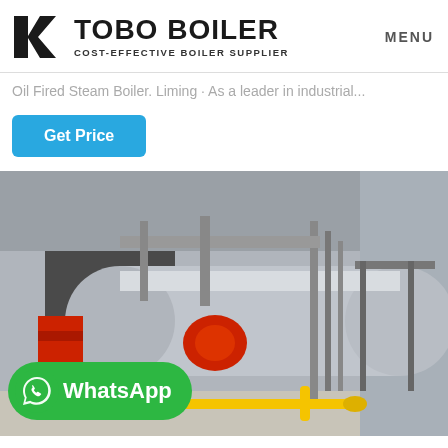[Figure (logo): Tobo Boiler logo with angular geometric icon in black and white, company name in bold black text, subtitle COST-EFFECTIVE BOILER SUPPLIER]
MENU
Oil Fired Steam Boiler. Liming · As a leader in industrial...
Get Price
[Figure (photo): Industrial oil fired steam boiler installation inside a factory/warehouse. Large horizontal cylindrical boiler with red burner visible, stainless steel insulation, metal piping, scaffolding structure, yellow gas pipe on floor, WhatsApp button overlay in bottom left corner.]